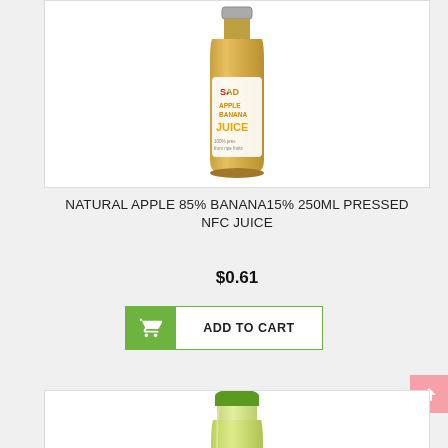[Figure (photo): A glass bottle of 'Sad' brand Apple Banana Juice, 100% pressed from ripe fruits, with a yellow/orange label showing bananas and a green apple]
NATURAL APPLE 85% BANANA15% 250ML PRESSED NFC JUICE
$0.61
ADD TO CART
[Figure (photo): A clear glass bottle with a green cap containing yellow-green juice, partially visible at the bottom of the page]